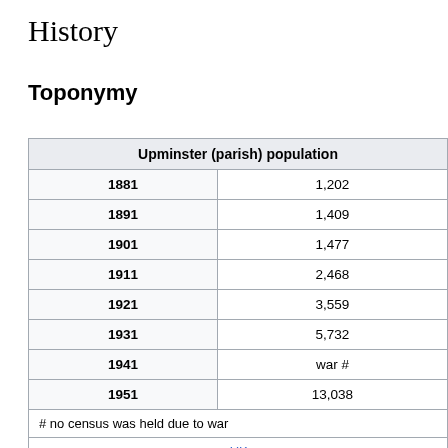History
Toponymy
| Upminster (parish) population |  |
| --- | --- |
| 1881 | 1,202 |
| 1891 | 1,409 |
| 1901 | 1,477 |
| 1911 | 2,468 |
| 1921 | 3,559 |
| 1931 | 5,732 |
| 1941 | war # |
| 1951 | 13,038 |
| # no census was held due to war |  |
| source: UK census |  |